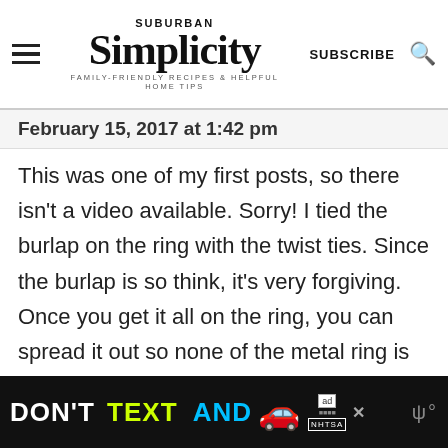SUBURBAN SIMPLICITY | FAMILY-FRIENDLY RECIPES & HELPFUL HOME TIPS | SUBSCRIBE
February 15, 2017 at 1:42 pm
This was one of my first posts, so there isn't a video available. Sorry! I tied the burlap on the ring with the twist ties. Since the burlap is so think, it's very forgiving. Once you get it all on the ring, you can spread it out so none of the metal ring is showing.
Reply
[Figure (infographic): DON'T TEXT AND DRIVE advertisement banner with yellow and cyan text, red car emoji, ad badge, and NHTSA logo on black background]